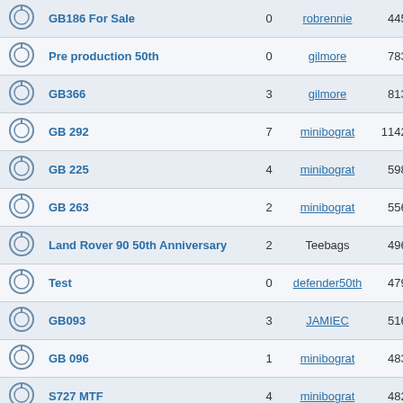|  | Title | Replies | Last Post By | Views | Date |
| --- | --- | --- | --- | --- | --- |
|  | GB186 For Sale | 0 | robrennie | 4450 | Mo |
|  | Pre production 50th | 0 | gilmore | 7833 | Th |
|  | GB366 | 3 | gilmore | 8137 | We |
|  | GB 292 | 7 | minibograt | 11428 | Tu |
|  | GB 225 | 4 | minibograt | 5981 | Sa |
|  | GB 263 | 2 | minibograt | 5565 | Th |
|  | Land Rover 90 50th Anniversary | 2 | Teebags | 4967 | Su |
|  | Test | 0 | defender50th | 4798 | Sa |
|  | GB093 | 3 | JAMIEC | 5163 | Fr |
|  | GB 096 | 1 | minibograt | 4837 | Fr |
|  | S727 MTF | 4 | minibograt | 4820 | Tu |
|  | GB 202 | 6 | minibograt | 7643 | We |
|  | GB 303 | 5 | minibograt | 8057 | Su |
|  | Reluctant sale of GB 311 | 1 | Trawleysteve | 4809 | Mo |
|  | GB 288 | 0 | minibograt | 4028 | Sa |